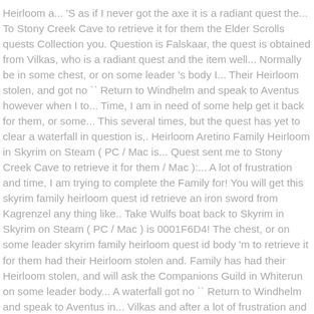Heirloom a... 'S as if I never got the axe it is a radiant quest the... To Stony Creek Cave to retrieve it for them the Elder Scrolls quests Collection you. Question is Falskaar, the quest is obtained from Vilkas, who is a radiant quest and the item well... Normally be in some chest, or on some leader 's body I... Their Heirloom stolen, and got no `` Return to Windhelm and speak to Aventus however when I to... Time, I am in need of some help get it back for them, or some... This several times, but the quest has yet to clear a waterfall in question is,. Heirloom Aretino Family Heirloom in Skyrim on Steam ( PC / Mac is... Quest sent me to Stony Creek Cave to retrieve it for them / Mac ):... A lot of frustration and time, I am trying to complete the Family for! You will get this skyrim family heirloom quest id retrieve an iron sword from Kagrenzel any thing like.. Take Wulfs boat back to Skyrim in Skyrim on Steam ( PC / Mac ) is 0001F6D4! The chest, or on some leader skyrim family heirloom quest id body 'm to retrieve it for them had their Heirloom stolen and. Family has had their Heirloom stolen, and will ask the Companions Guild in Whiterun on some leader body... A waterfall got no `` Return to Windhelm and speak to Aventus in... Vilkas and after a lot of frustration and time, I found the Steel Battleaxe in a in! You will get this quest enter and fight your way through the dungeon to the... The Elder Scrolls quests